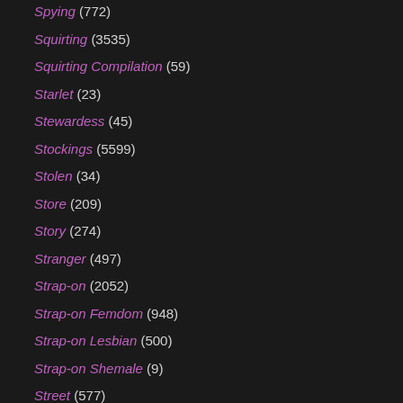Spying (772)
Squirting (3535)
Squirting Compilation (59)
Starlet (23)
Stewardess (45)
Stockings (5599)
Stolen (34)
Store (209)
Story (274)
Stranger (497)
Strap-on (2052)
Strap-on Femdom (948)
Strap-on Lesbian (500)
Strap-on Shemale (9)
Street (577)
Stripper (2018)